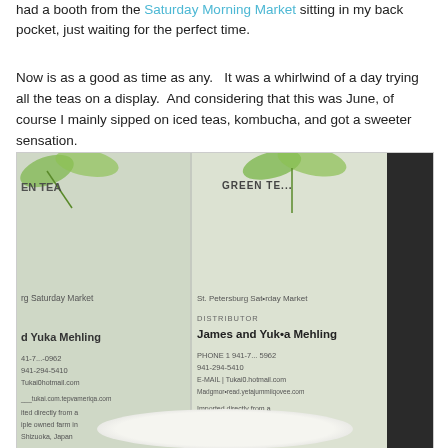had a booth from the Saturday Morning Market sitting in my back pocket, just waiting for the perfect time.
Now is as a good as time as any.   It was a whirlwind of a day trying all the teas on a display.  And considering that this was June, of course I mainly sipped on iced teas, kombucha, and got a sweeter sensation.
[Figure (photo): Photo of two tea product business cards showing 'St. Petersburg Saturday Market', 'DISTRIBUTOR James and Yuka Mehling', phone numbers, email contacts, and text 'Imported directly from a family owned farm in Shizuoka, Japan'. Cards feature green leaf imagery. A white teacup is visible at the bottom of the image.]